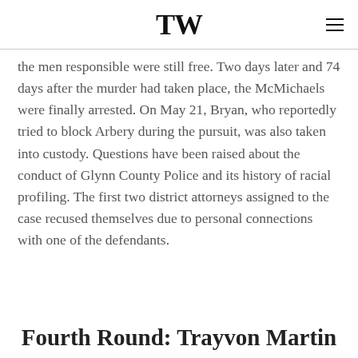TW
the men responsible were still free. Two days later and 74 days after the murder had taken place, the McMichaels were finally arrested. On May 21, Bryan, who reportedly tried to block Arbery during the pursuit, was also taken into custody. Questions have been raised about the conduct of Glynn County Police and its history of racial profiling. The first two district attorneys assigned to the case recused themselves due to personal connections with one of the defendants.
Fourth Round: Trayvon Martin